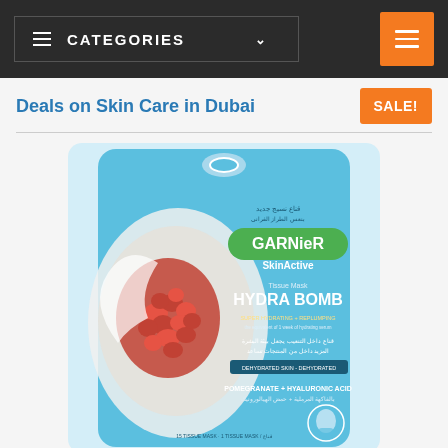≡ CATEGORIES ∨
Deals on Skin Care in Dubai
[Figure (photo): Garnier SkinActive Hydra Bomb Tissue Mask product package featuring pomegranate imagery on a blue background]
Garnier Skinactive Pomegranate Hydrating Face